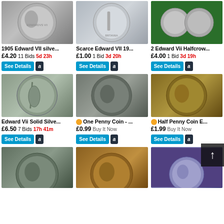[Figure (photo): 1905 Edward VII silver coin - obverse portrait]
1905 Edward VII silve...
£4.20 11 Bids 5d 23h
[Figure (photo): Scarce Edward VII 19... coin - standing figure reverse]
Scarce Edward VII 19...
£1.00 1 Bid 3d 20h
[Figure (photo): 2 Edward VII Halfcrowns on green background]
2 Edward Vii Halfcrow...
£4.00 1 Bid 3d 19h
[Figure (photo): Edward VII Solid Silver coin - Britannia reverse]
Edward Vii Solid Silve...
£6.50 7 Bids 17h 41m
[Figure (photo): One Penny Coin - Edward VII obverse portrait dark toned]
⭐ One Penny Coin - ...
£0.99 Buy It Now
[Figure (photo): Half Penny Coin Edward VII obverse portrait]
⭐ Half Penny Coin E...
£1.99 Buy It Now
[Figure (photo): Coin with Edward VII portrait - partially visible, row 3 left]
[Figure (photo): Bronze/copper Edward VII penny coin - row 3 middle]
[Figure (photo): Coin on purple background - row 3 right]